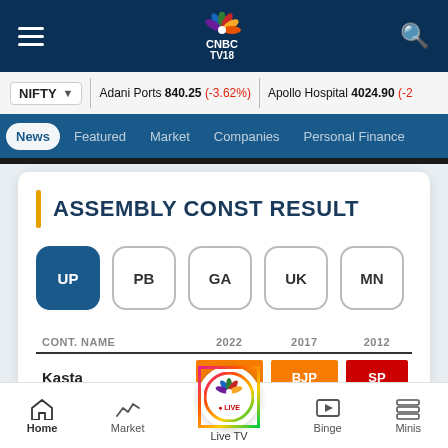CNBC TV18 navigation bar with hamburger menu and search
NIFTY | Adani Ports 840.25 (-3.62%) | Apollo Hospital 4024.90 (-2
News | Featured | Market | Companies | Personal Finance
ASSEMBLY CONST RESULT
UP
PB
GA
UK
MN
| CONT. NAME | 2022 | 2017 | 2012 |
| --- | --- | --- | --- |
| Kasta | BJP | BJP | SP |
Home | Market | Live TV | Binge | Minis